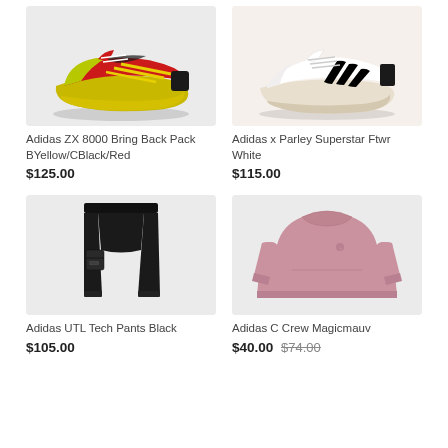[Figure (photo): Adidas ZX 8000 sneaker in yellow, red, and black colorway on white background]
Adidas ZX 8000 Bring Back Pack BYellow/CBlack/Red
$125.00
[Figure (photo): Adidas x Parley Superstar sneaker in white with black stripes on cream background]
Adidas x Parley Superstar Ftwr White
$115.00
[Figure (photo): Adidas UTL Tech Pants in black on light background]
Adidas UTL Tech Pants Black
$105.00
[Figure (photo): Adidas C Crew sweatshirt in pink/mauve color on light background]
Adidas C Crew Magicmauv
$40.00 $74.00